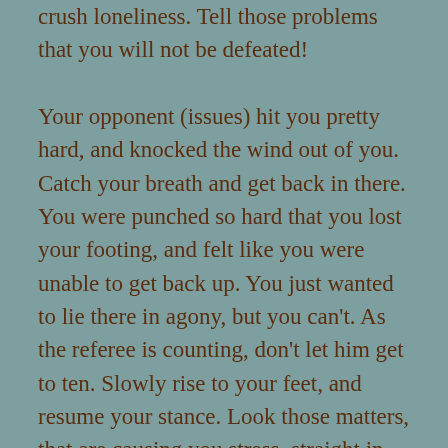crush loneliness. Tell those problems that you will not be defeated!

Your opponent (issues) hit you pretty hard, and knocked the wind out of you. Catch your breath and get back in there. You were punched so hard that you lost your footing, and felt like you were unable to get back up. You just wanted to lie there in agony, but you can't. As the referee is counting, don't let him get to ten. Slowly rise to your feet, and resume your stance. Look those matters, that are causing you stress, straight in the eye and say, “I’m not done yet”. Put on your “mean mug”. While you are handling your business, hear your supporters rooting for you. They are loudly cheering you on. They are screaming “You can...